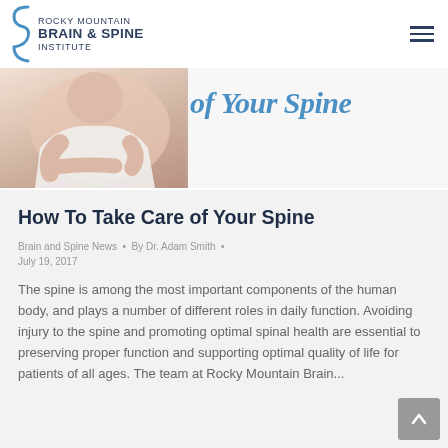[Figure (logo): Rocky Mountain Brain & Spine Institute logo with stylized brace icon and text]
[Figure (photo): Partial view of a person in a white tank top with a hero banner showing italic blue text 'of Your Spine']
How To Take Care of Your Spine
Brain and Spine News · By Dr. Adam Smith · July 19, 2017
The spine is among the most important components of the human body, and plays a number of different roles in daily function. Avoiding injury to the spine and promoting optimal spinal health are essential to preserving proper function and supporting optimal quality of life for patients of all ages. The team at Rocky Mountain Brain...